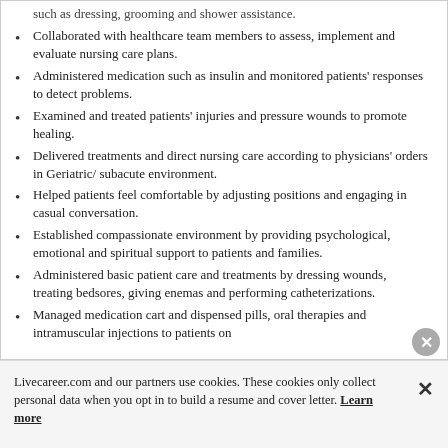such as dressing, grooming and shower assistance. (partial/cut off at top)
Collaborated with healthcare team members to assess, implement and evaluate nursing care plans.
Administered medication such as insulin and monitored patients' responses to detect problems.
Examined and treated patients' injuries and pressure wounds to promote healing.
Delivered treatments and direct nursing care according to physicians' orders in Geriatric/ subacute environment.
Helped patients feel comfortable by adjusting positions and engaging in casual conversation.
Established compassionate environment by providing psychological, emotional and spiritual support to patients and families.
Administered basic patient care and treatments by dressing wounds, treating bedsores, giving enemas and performing catheterizations.
Managed medication cart and dispensed pills, oral therapies and intramuscular injections to patients on
Livecareer.com and our partners use cookies. These cookies only collect personal data when you opt in to build a resume and cover letter. Learn more